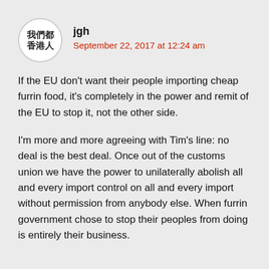jgh
September 22, 2017 at 12:24 am
If the EU don't want their people importing cheap furrin food, it's completely in the power and remit of the EU to stop it, not the other side.
I'm more and more agreeing with Tim's line: no deal is the best deal. Once out of the customs union we have the power to unilaterally abolish all and every import control on all and every import without permission from anybody else. When furrin government chose to stop their peoples from doing is entirely their business.